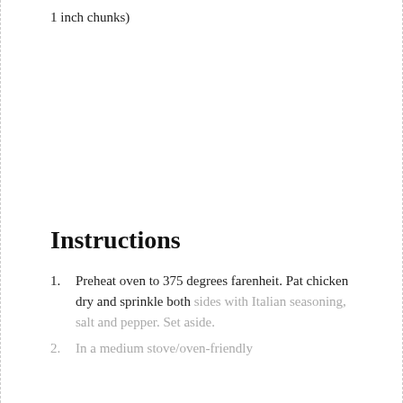1 inch chunks)
Instructions
Preheat oven to 375 degrees farenheit. Pat chicken dry and sprinkle both sides with Italian seasoning, salt and pepper. Set aside.
In a medium stove/oven-friendly